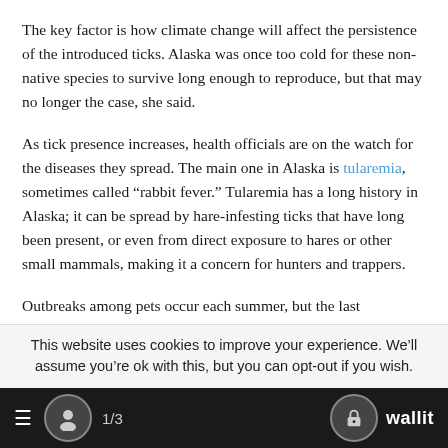The key factor is how climate change will affect the persistence of the introduced ticks. Alaska was once too cold for these non-native species to survive long enough to reproduce, but that may no longer the case, she said.
As tick presence increases, health officials are on the watch for the diseases they spread. The main one in Alaska is tularemia, sometimes called “rabbit fever.” Tularemia has a long history in Alaska; it can be spread by hare-infesting ticks that have long been present, or even from direct exposure to hares or other small mammals, making it a concern for hunters and trappers.
Outbreaks among pets occur each summer, but the last
This website uses cookies to improve your experience. We’ll assume you’re ok with this, but you can opt-out if you wish.
1/3  wallit